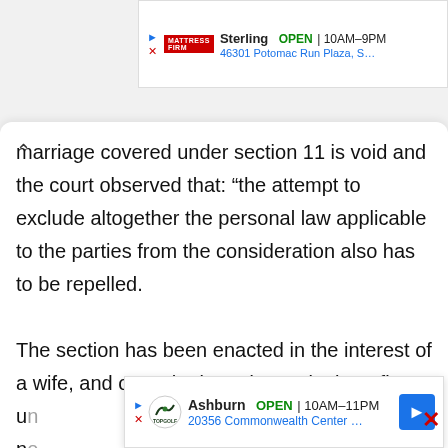[Figure (screenshot): Top advertisement banner for Mattress Firm Sterling, showing OPEN 10AM-9PM, 46301 Potomac Run Plaza]
marriage covered under section 11 is void and the court observed that: “the attempt to exclude altogether the personal law applicable to the parties from the consideration also has to be repelled.

The section has been enacted in the interest of a wife, and one who intends to take benefit u[...] [he] n[...] [e]
[Figure (screenshot): Bottom advertisement banner for Topgolf Ashburn, showing OPEN 10AM-11PM, 20356 Commonwealth Center...]